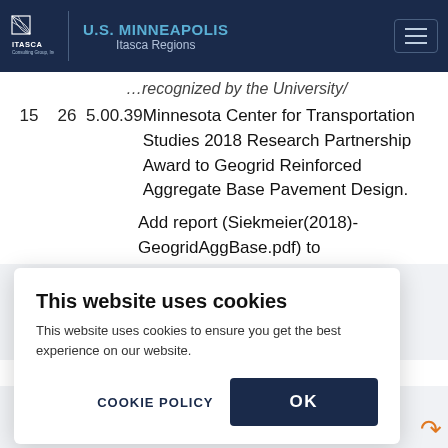U.S. MINNEAPOLIS | Itasca Regions | Itasca Consulting Group, Inc.
...recognized by the University Minnesota Center for Transportation Studies 2018 Research Partnership Award to Geogrid Reinforced Aggregate Base Pavement Design.
Add report (Siekmeier(2018)-GeogridAggBase.pdf) to
This website uses cookies
This website uses cookies to ensure you get the best experience on our website.
6/22/2018